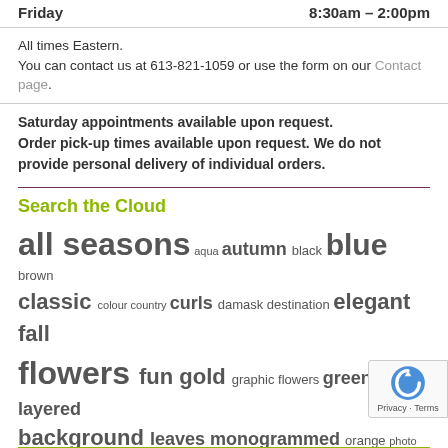Friday   8:30am – 2:00pm
All times Eastern.
You can contact us at 613-821-1059 or use the form on our Contact page.
Saturday appointments available upon request. Order pick-up times available upon request. We do not provide personal delivery of individual orders.
Search the Cloud
all seasons aqua autumn black blue brown classic colour country curls damask destination elegant fall flowers fun gold graphic flowers green layered background leaves monogrammed orange photo pink pocket pouch purple red ribbon roses rustic seating silver spring square summer swirls travel vintage watercolour wedding white winter yellow